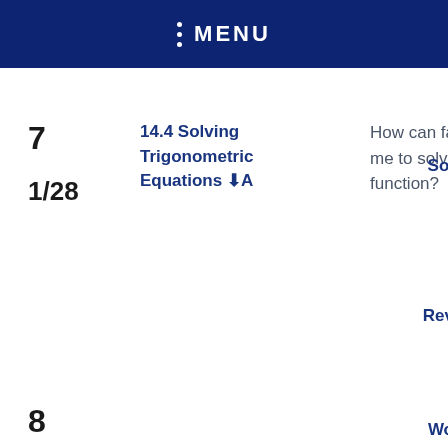MENU
7
1/28
14.4 Solving Trigonometric Equations
How can factoring allow me to solve a trig function?
Sol
Rev
8
Wo